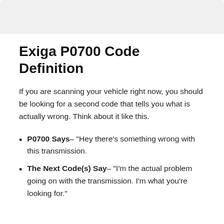[Figure (photo): Gray placeholder image area at top of page]
Exiga P0700 Code Definition
If you are scanning your vehicle right now, you should be looking for a second code that tells you what is actually wrong. Think about it like this.
P0700 Says– "Hey there's something wrong with this transmission.
The Next Code(s) Say– "I'm the actual problem going on with the transmission. I'm what you're looking for."